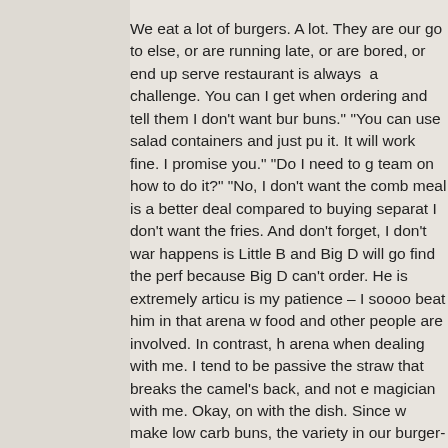We eat a lot of burgers. A lot. They are our go to else, or are running late, or are bored, or end up serve restaurant is always a challenge. You can I get when ordering and tell them I don't want bur buns." "You can use salad containers and just pu it. It will work fine. I promise you." "Do I need to g team on how to do it?" "No, I don't want the comb meal is a better deal compared to buying separat I don't want the fries. And don't forget, I don't war happens is Little B and Big D will go find the perf because Big D can't order. He is extremely articu is my patience – I soooo beat him in that arena w food and other people are involved. In contrast, h arena when dealing with me. I tend to be passive the straw that breaks the camel's back, and not e magician with me. Okay, on with the dish. Since w make low carb buns, the variety in our burger-ne toppings. I was longing for a Tex-Mex feast, but c